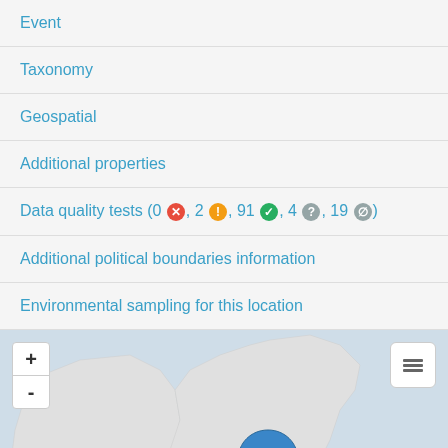Event
Taxonomy
Geospatial
Additional properties
Data quality tests (0 ✗, 2 !, 91 ✓, 4 ?, 19 ∅)
Additional political boundaries information
Environmental sampling for this location
[Figure (map): Interactive map showing location marker near Townsville, Australia (Queensland coast). Blue pin marker visible on eastern Australian coastline. Map controls include zoom in (+) and zoom out (-) buttons on the left, and a layers button on the right. Labels show 'Townsville' near the marker.]